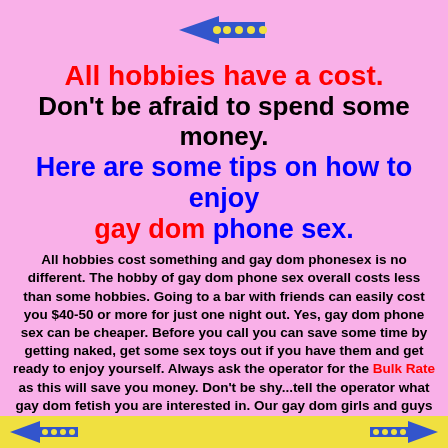[Figure (illustration): Left-pointing arrow with yellow dots on pink background at top center]
All hobbies have a cost.
Don't be afraid to spend some money.
Here are some tips on how to enjoy gay dom phone sex.
All hobbies cost something and gay dom phonesex is no different. The hobby of gay dom phone sex overall costs less than some hobbies. Going to a bar with friends can easily cost you $40-50 or more for just one night out. Yes, gay dom phone sex can be cheaper. Before you call you can save some time by getting naked, get some sex toys out if you have them and get ready to enjoy yourself. Always ask the operator for the Bulk Rate as this will save you money. Don't be shy...tell the operator what gay dom fetish you are interested in. Our gay dom girls and guys are very friendly and will fill your fantasy. You can live out your fantasy with gay dom phone sex. There is no subject or topic that is taboo. When you are naked turn the lights down low, have your credit card and/or check information ready. Relax and try different numbers. Get ready to talk naughty and downright kinky. Our gay dom phonesex girls and guys are ready now. Are you ready to chat?
[Figure (illustration): Bottom bar with yellow background, left and right pointing arrows with dots]